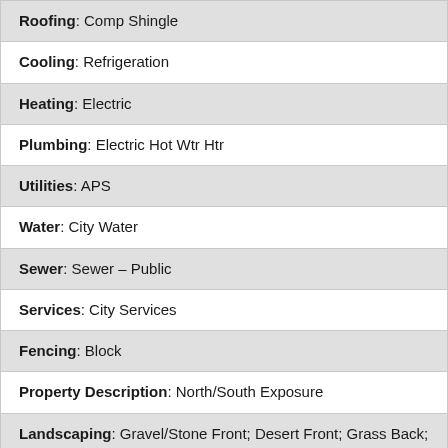| Roofing: Comp Shingle |
| Cooling: Refrigeration |
| Heating: Electric |
| Plumbing: Electric Hot Wtr Htr |
| Utilities: APS |
| Water: City Water |
| Sewer: Sewer – Public |
| Services: City Services |
| Fencing: Block |
| Property Description: North/South Exposure |
| Landscaping: Gravel/Stone Front; Desert Front; Grass Back; Yrd Wtring Sys Back |
| Possession: Close of Escrow |